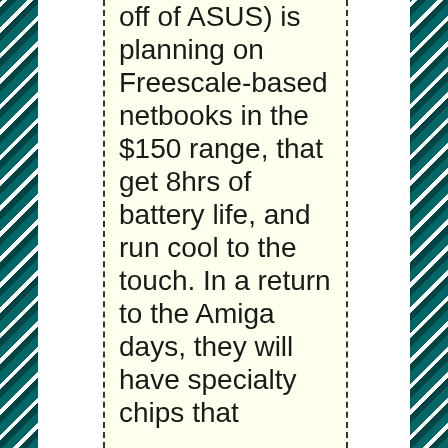off of ASUS) is planning on Freescale-based netbooks in the $150 range, that get 8hrs of battery life, and run cool to the touch. In a return to the Amiga days, they will have specialty chips that